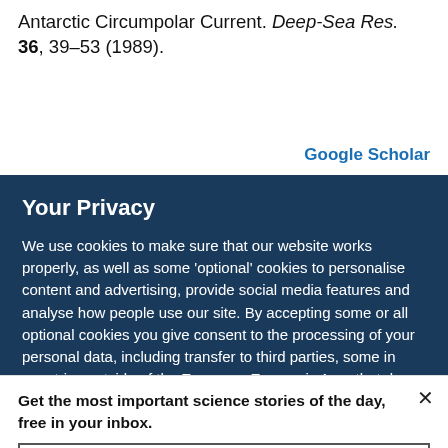Antarctic Circumpolar Current. Deep-Sea Res. 36, 39–53 (1989).
Google Scholar
Your Privacy
We use cookies to make sure that our website works properly, as well as some 'optional' cookies to personalise content and advertising, provide social media features and analyse how people use our site. By accepting some or all optional cookies you give consent to the processing of your personal data, including transfer to third parties, some in countries outside of the European Economic Area that do not offer the same data protection standards as the country where you live. You can decide which optional cookies to accept by clicking on 'Manage Settings', where you can
Get the most important science stories of the day, free in your inbox.
Sign up for Nature Briefing